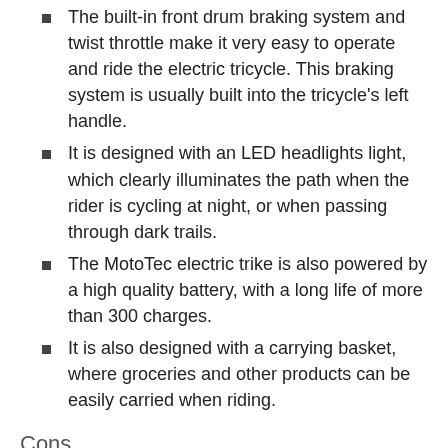The built-in front drum braking system and twist throttle make it very easy to operate and ride the electric tricycle. This braking system is usually built into the tricycle's left handle.
It is designed with an LED headlights light, which clearly illuminates the path when the rider is cycling at night, or when passing through dark trails.
The MotoTec electric trike is also powered by a high quality battery, with a long life of more than 300 charges.
It is also designed with a carrying basket, where groceries and other products can be easily carried when riding.
Cons
The MotoTec Electric trike is not as stable as is expected; it easily tips over backwards.
Also, the front tire of the electric tricycle tends to peel out easily, which makes it hard to get traction on gravel, damp grass and on hills.